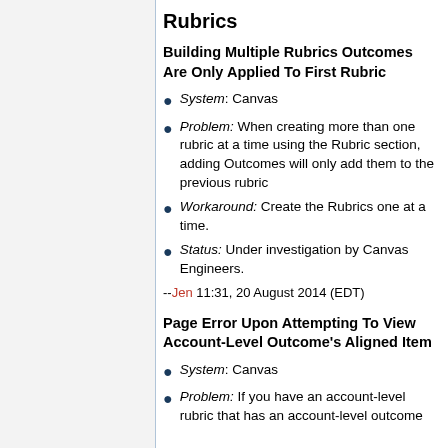Rubrics
Building Multiple Rubrics Outcomes Are Only Applied To First Rubric
System: Canvas
Problem: When creating more than one rubric at a time using the Rubric section, adding Outcomes will only add them to the previous rubric
Workaround: Create the Rubrics one at a time.
Status: Under investigation by Canvas Engineers.
--Jen 11:31, 20 August 2014 (EDT)
Page Error Upon Attempting To View Account-Level Outcome's Aligned Item
System: Canvas
Problem: If you have an account-level rubric that has an account-level outcome